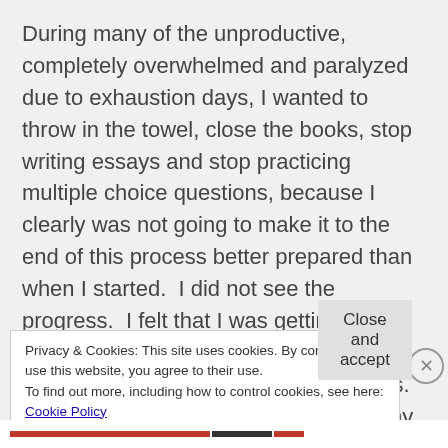During many of the unproductive, completely overwhelmed and paralyzed due to exhaustion days, I wanted to throw in the towel, close the books, stop writing essays and stop practicing multiple choice questions, because I clearly was not going to make it to the end of this process better prepared than when I started.  I did not see the progress.  I felt that I was getting the same types of questions wrong and missing the same issues on the essays.  I decided that I would just go back to my
Privacy & Cookies: This site uses cookies. By continuing to use this website, you agree to their use.
To find out more, including how to control cookies, see here: Cookie Policy